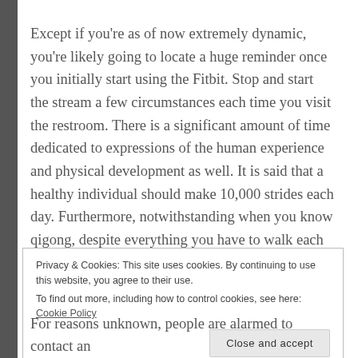Except if you're as of now extremely dynamic, you're likely going to locate a huge reminder once you initially start using the Fitbit. Stop and start the stream a few circumstances each time you visit the restroom. There is a significant amount of time dedicated to expressions of the human experience and physical development as well. It is said that a healthy individual should make 10,000 strides each day. Furthermore, notwithstanding when you know qigong, despite everything you have to walk each and every day. I recommend doing them during the day. We went there the following day.
Privacy & Cookies: This site uses cookies. By continuing to use this website, you agree to their use.
To find out more, including how to control cookies, see here: Cookie Policy
[Close and accept]
For reasons unknown, people are alarmed to contact an